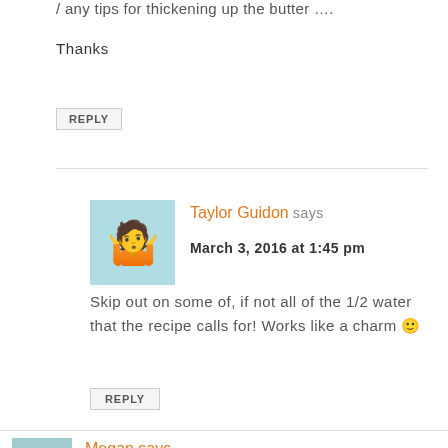/ any tips for thickening up the butter ….
Thanks
REPLY
Taylor Guidon says
March 3, 2016 at 1:45 pm
Skip out on some of, if not all of the 1/2 water that the recipe calls for! Works like a charm 🙂
REPLY
Megan says